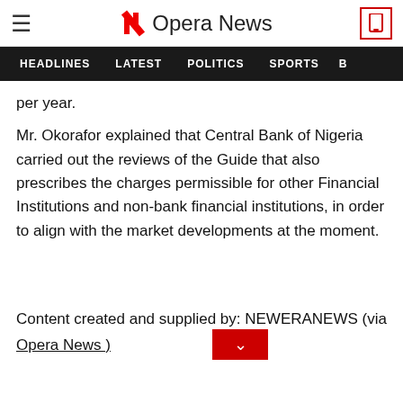Opera News
HEADLINES LATEST POLITICS SPORTS
per year.
Mr. Okorafor explained that Central Bank of Nigeria carried out the reviews of the Guide that also prescribes the charges permissible for other Financial Institutions and non-bank financial institutions, in order to align with the market developments at the moment.
Content created and supplied by: NEWERANEWS (via Opera News )